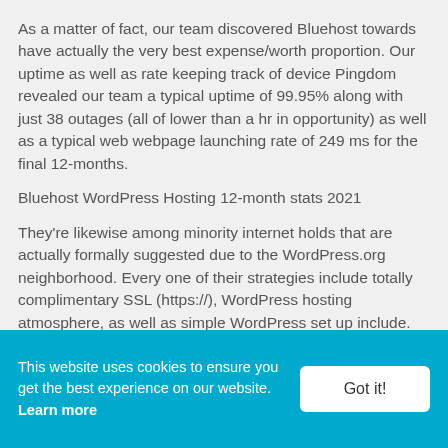As a matter of fact, our team discovered Bluehost towards have actually the very best expense/worth proportion. Our uptime as well as rate keeping track of device Pingdom revealed our team a typical uptime of 99.95% along with just 38 outages (all of lower than a hr in opportunity) as well as a typical web webpage launching rate of 249 ms for the final 12-months.
Bluehost WordPress Hosting 12-month stats 2021
They're likewise among minority internet holds that are actually formally suggested due to the WordPress.org neighborhood. Every one of their strategies include totally complimentary SSL (https://), WordPress hosting atmosphere, as well as simple WordPress set up include.
Bluehost doesn't deal totally complimentary webinternet web site movement along with its own most affordable strategy as well as it will expense you $150 for moving one webinternet web site. If you register with their And also strategy or even over, after that you will
This website uses cookies to ensure you get the best experience on our website. Learn more